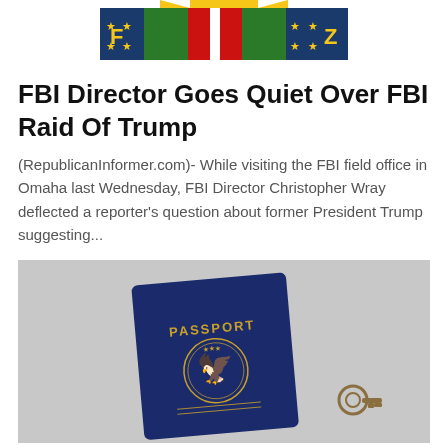[Figure (logo): FBI / Republican Informer logo banner with stars, flag colors (red, white, blue, green), and stylized 'F' and 'Z' letters]
FBI Director Goes Quiet Over FBI Raid Of Trump
(RepublicanInformer.com)- While visiting the FBI field office in Omaha last Wednesday, FBI Director Christopher Wray deflected a reporter's question about former President Trump suggesting...
[Figure (photo): A US navy blue passport book with gold 'PASSPORT' text and eagle seal, lying on a light gray surface next to a decorative key or charm]